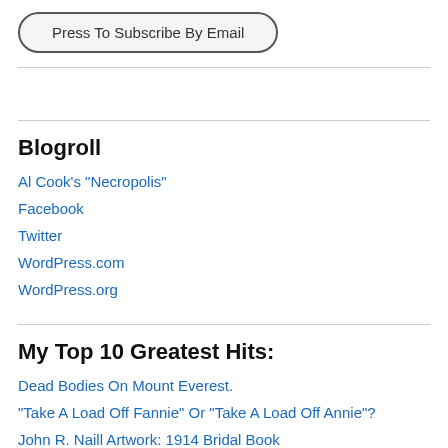Press To Subscribe By Email
Blogroll
Al Cook's "Necropolis"
Facebook
Twitter
WordPress.com
WordPress.org
My Top 10 Greatest Hits:
Dead Bodies On Mount Everest.
"Take A Load Off Fannie" Or "Take A Load Off Annie"?
John R. Naill Artwork: 1914 Bridal Book